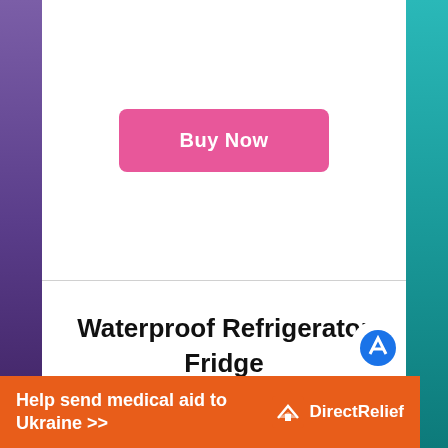[Figure (other): Pink 'Buy Now' button centered in white area]
Waterproof Refrigerator Fridge Thermometer, Digital Freezer
[Figure (other): Orange advertisement banner: 'Help send medical aid to Ukraine >>' with Direct Relief logo]